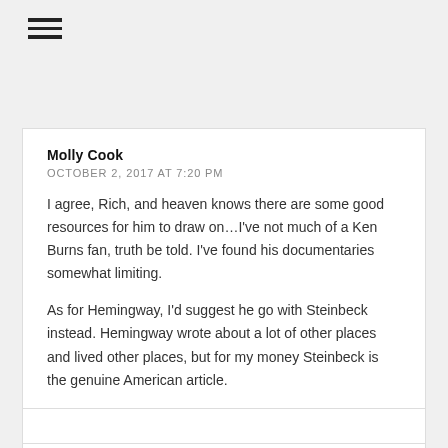[Figure (other): Hamburger menu icon (three horizontal lines)]
Molly Cook
OCTOBER 2, 2017 AT 7:20 PM
I agree, Rich, and heaven knows there are some good resources for him to draw on…I've not much of a Ken Burns fan, truth be told. I've found his documentaries somewhat limiting.
As for Hemingway, I'd suggest he go with Steinbeck instead. Hemingway wrote about a lot of other places and lived other places, but for my money Steinbeck is the genuine American article.
Molly Cook